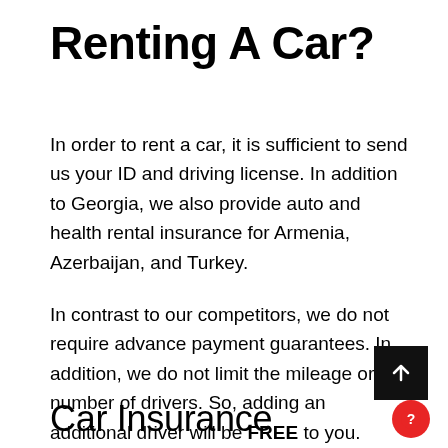Renting A Car?
In order to rent a car, it is sufficient to send us your ID and driving license. In addition to Georgia, we also provide auto and health rental insurance for Armenia, Azerbaijan, and Turkey.
In contrast to our competitors, we do not require advance payment guarantees. In addition, we do not limit the mileage or number of drivers. So, adding an additional driver will be FREE to you.
Car Insurance